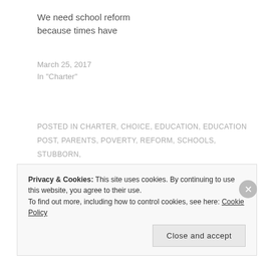We need school reform because times have
March 25, 2017
In "Charter"
POSTED IN CHARTER, CHOICE, EDUCATION, EDUCATION POST, PARENTS, POVERTY, REFORM, SCHOOLS, STUBBORN, TEACHER INPUT, TEACHER VOICE, TESTS
CHARTER
CHILDREN
CHOICE
DATA
EDUCATION
REFORM
SCHOOLS
STUBBOR
STUDENTS
TEACHERS
TEACHING
UNIONS
Privacy & Cookies: This site uses cookies. By continuing to use this website, you agree to their use. To find out more, including how to control cookies, see here: Cookie Policy
Close and accept